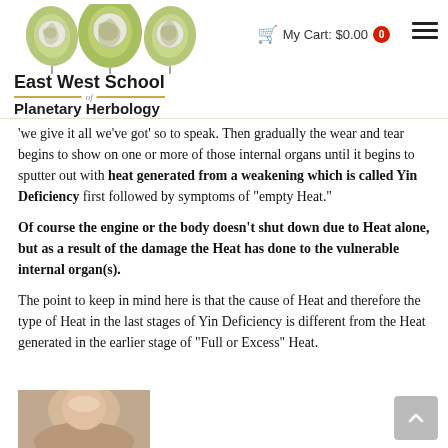[Figure (logo): East West School of Planetary Herbology logo with three leaf shapes containing globe images]
East West School of Planetary Herbology
My Cart: $0.00  0
'we give it all we’ve got’ so to speak. Then gradually the wear and tear begins to show on one or more of those internal organs until it begins to sputter out with heat generated from a weakening which is called Yin Deficiency first followed by symptoms of “empty Heat.”
Of course the engine or the body doesn’t shut down due to Heat alone, but as a result of the damage the Heat has done to the vulnerable internal organ(s).
The point to keep in mind here is that the cause of Heat and therefore the type of Heat in the last stages of Yin Deficiency is different from the Heat generated in the earlier stage of “Full or Excess” Heat.
[Figure (photo): Partial photo of a person's face, visible at bottom left of the page]